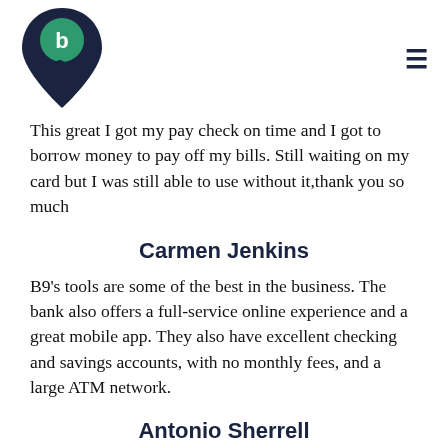[Figure (logo): B9 logo: dark navy pin/location marker shape with a green circle containing letter 'b' at top, stylized '9' shape below]
This great I got my pay check on time and I got to borrow money to pay off my bills. Still waiting on my card but I was still able to use without it,thank you so much
Carmen Jenkins
B9's tools are some of the best in the business. The bank also offers a full-service online experience and a great mobile app. They also have excellent checking and savings accounts, with no monthly fees, and a large ATM network.
Antonio Sherrell
Best Bank Advancement Incentive. I was browsing through the app and came across B9 and decided to give it a try. So after downloading it and seeing i can set